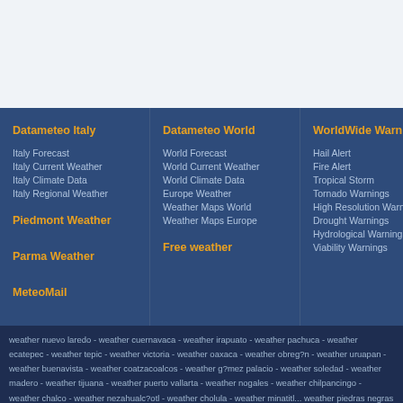Datameteo Italy
Italy Forecast
Italy Current Weather
Italy Climate Data
Italy Regional Weather
Piedmont Weather
Parma Weather
MeteoMail
Datameteo World
World Forecast
World Current Weather
World Climate Data
Europe Weather
Weather Maps World
Weather Maps Europe
Free weather
WorldWide Warnings
Hail Alert
Fire Alert
Tropical Storm
Tornado Warnings
High Resolution Warnings
Drought Warnings
Hydrological Warnings
Viability Warnings
Expe...
Metar-...
Flight M...
GFS M...
WRF M...
CFS M...
Meteo...
WW3 ...
weather nuevo laredo - weather cuernavaca - weather irapuato - weather pachuca - weather ecatepec - weather tepic - weather victoria - weather oaxaca - weather obreg?n - weather uruapan - weather buenavista - weather coatzacoalcos - weather g?mez palacio - weather soledad - weather madero - weather tijuana - weather puerto vallarta - weather nogales - weather chilpancingo - weather chalco - weather nezahualc?otl - weather cholula - weather minatitl... - weather piedras negras - weather san luis rfo colorado - weather salamanca - weather che... colima - weather zapopan - weather zamora - weather huixquilucan - weather orizaba - weather valles - weather naucalpan - weather fresnillo - weather guaymas - weather delicias - weather chihuahua - weather san luis potosf - weather aguascalientes - weather acapulco - weather queretaro - weather mexicali - weather hermosillo - weather morelia - weather chi... mateos - weather san nicolas de los garza - weather toluca - weather reynosa - weather tl... matamoros - weather xalapa - weather tapalo - weather viso - weather tllahermos...